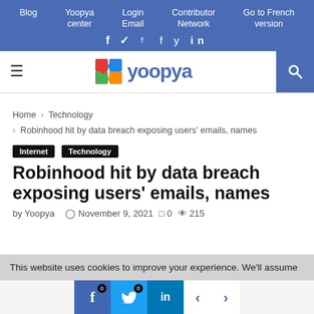Blog | Yoopya center | Login Email | Contributor Network | Go to French version | f t in
[Figure (logo): Yoopya logo with colorful puzzle piece icon and blue text 'yoopya']
Home > Technology > Robinhood hit by data breach exposing users' emails, names
Internet Technology
Robinhood hit by data breach exposing users' emails, names
by Yoopya  November 9, 2021  0  215
This website uses cookies to improve your experience. We'll assume
f 0  t 0  in  < >